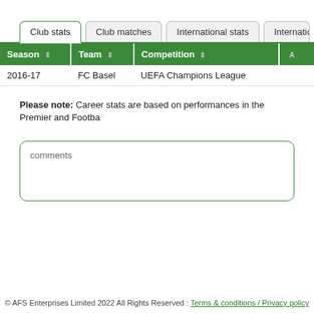Club stats | Club matches | International stats | International m
| Season | Team | Competition | A |
| --- | --- | --- | --- |
| 2016-17 | FC Basel | UEFA Champions League |  |
Please note: Career stats are based on performances in the Premier and Footba
comments
© AFS Enterprises Limited 2022 All Rights Reserved : Terms & conditions / Privacy policy